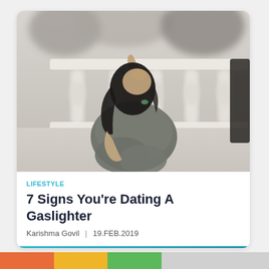[Figure (photo): A woman sitting outdoors near a white balustrade railing, holding her head in her hands, looking upward, wearing a grey patterned top. Blurred background with white decorative pillars. Black and white figure visible at right edge.]
LIFESTYLE
7 Signs You're Dating A Gaslighter
Karishma Govil | 19.FEB.2019